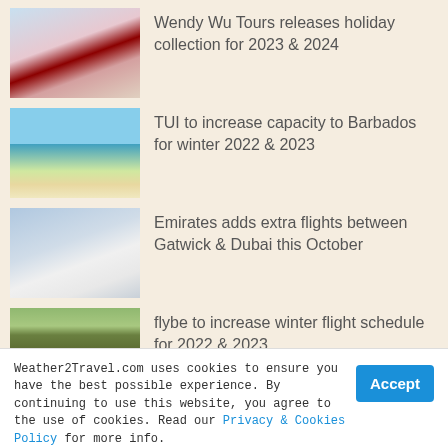[Figure (photo): Japanese pagoda with Mount Fuji and cherry blossoms]
Wendy Wu Tours releases holiday collection for 2023 & 2024
[Figure (photo): Tropical beach with two people walking along the shore]
TUI to increase capacity to Barbados for winter 2022 & 2023
[Figure (photo): Emirates airplane in flight against a blue sky]
Emirates adds extra flights between Gatwick & Dubai this October
[Figure (photo): Amsterdam canal with boats and green trees]
flybe to increase winter flight schedule for 2022 & 2023
Weather2Travel.com uses cookies to ensure you have the best possible experience. By continuing to use this website, you agree to the use of cookies. Read our Privacy & Cookies Policy for more info.